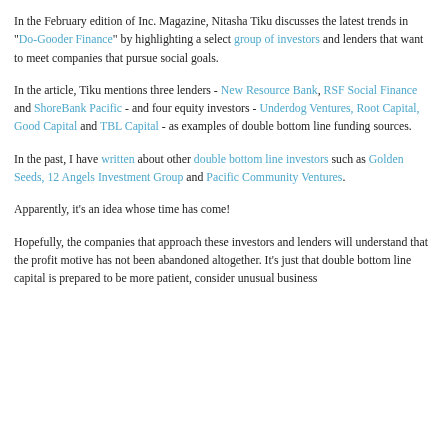In the February edition of Inc. Magazine, Nitasha Tiku discusses the latest trends in "Do-Gooder Finance" by highlighting a select group of investors and lenders that want to meet companies that pursue social goals.
In the article, Tiku mentions three lenders - New Resource Bank, RSF Social Finance and ShoreBank Pacific - and four equity investors - Underdog Ventures, Root Capital, Good Capital and TBL Capital - as examples of double bottom line funding sources.
In the past, I have written about other double bottom line investors such as Golden Seeds, 12 Angels Investment Group and Pacific Community Ventures.
Apparently, it's an idea whose time has come!
Hopefully, the companies that approach these investors and lenders will understand that the profit motive has not been abandoned altogether. It's just that double bottom line capital is prepared to be more patient, consider unusual business